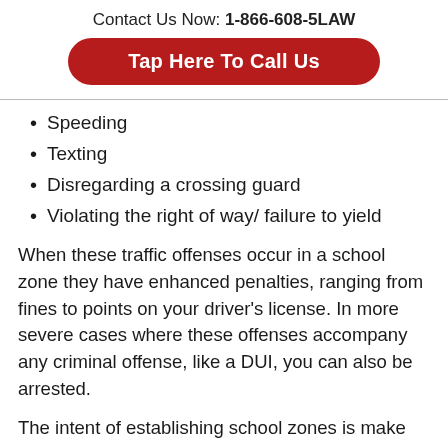Contact Us Now: 1-866-608-5LAW
Tap Here To Call Us
Speeding
Texting
Disregarding a crossing guard
Violating the right of way/ failure to yield
When these traffic offenses occur in a school zone they have enhanced penalties, ranging from fines to points on your driver's license. In more severe cases where these offenses accompany any criminal offense, like a DUI, you can also be arrested.
The intent of establishing school zones is make sure children get from their home and to school safely, and vice versa. However, these school